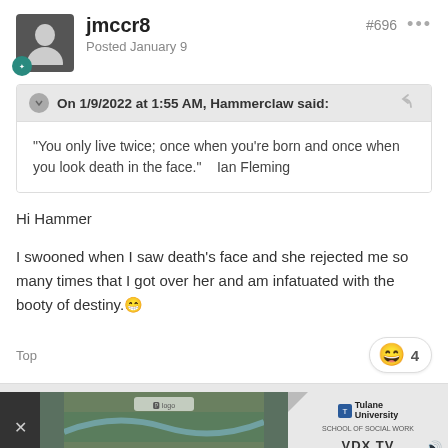jmccr8 — Posted January 9 — #696
On 1/9/2022 at 1:55 AM, Hammerclaw said:
"You only live twice; once when you're born and once when you look death in the face."    Ian Fleming
Hi Hammer
I swooned when I saw death's face and she rejected me so many times that I got over her and am infatuated with the booty of destiny.😄
Top
[Figure (screenshot): Advertisement banner at the bottom with a close button, aerial photo of a river/city, and Tulane University School of Social Work ad with VDX.TV label]